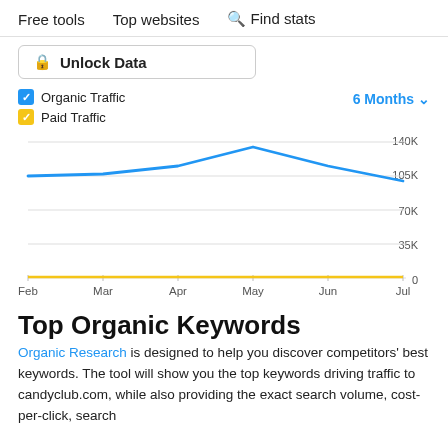Free tools   Top websites   🔍 Find stats
🔒 Unlock Data
[Figure (line-chart): Organic Traffic & Paid Traffic (6 Months)]
Top Organic Keywords
Organic Research is designed to help you discover competitors' best keywords. The tool will show you the top keywords driving traffic to candyclub.com, while also providing the exact search volume, cost-per-click, search